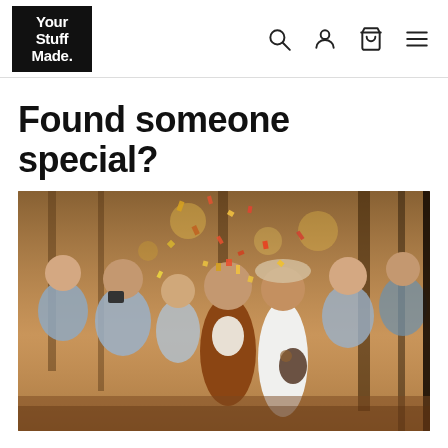[Figure (logo): Your Stuff Made. logo — white bold text on black background]
[Figure (other): Navigation bar icons: search magnifying glass, user/person icon, shopping bag/cart icon, hamburger menu icon]
Found someone special?
[Figure (photo): Wedding celebration photo: a couple walking through a crowd of guests throwing confetti in a wooded outdoor setting. The groom wears a rust/brown jacket; the bride wears a white dress. Guests surround them smiling and celebrating.]